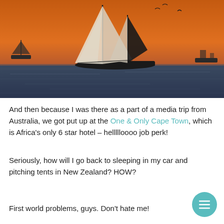[Figure (photo): A sailboat with two tall sails silhouetted against a vivid orange sunset sky over the ocean. Another vessel visible in the background on the left, another on the right.]
And then because I was there as a part of a media trip from Australia, we got put up at the One & Only Cape Town, which is Africa's only 6 star hotel – hellllloooo job perk!
Seriously, how will I go back to sleeping in my car and pitching tents in New Zealand? HOW?
First world problems, guys. Don't hate me!